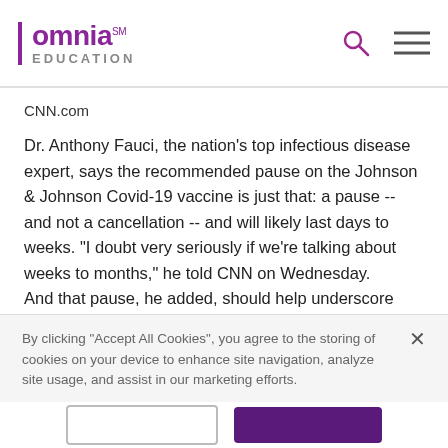omnia EDUCATION
CNN.com
Dr. Anthony Fauci, the nation's top infectious disease expert, says the recommended pause on the Johnson & Johnson Covid-19 vaccine is just that: a pause -- and not a cancellation -- and will likely last days to weeks. "I doubt very seriously if we're talking about weeks to months," he told CNN on Wednesday.
And that pause, he added, should help underscore and confirm "how seriously we take safety even though it's a rare event."
By clicking “Accept All Cookies”, you agree to the storing of cookies on your device to enhance site navigation, analyze site usage, and assist in our marketing efforts.